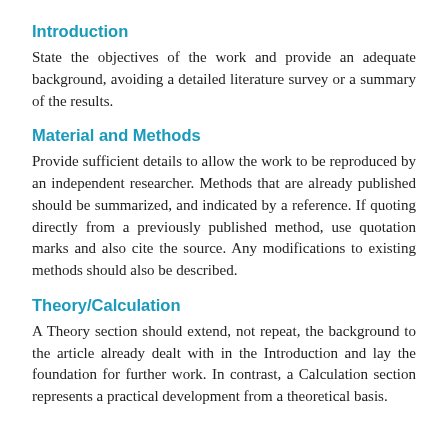Introduction
State the objectives of the work and provide an adequate background, avoiding a detailed literature survey or a summary of the results.
Material and Methods
Provide sufficient details to allow the work to be reproduced by an independent researcher. Methods that are already published should be summarized, and indicated by a reference. If quoting directly from a previously published method, use quotation marks and also cite the source. Any modifications to existing methods should also be described.
Theory/Calculation
A Theory section should extend, not repeat, the background to the article already dealt with in the Introduction and lay the foundation for further work. In contrast, a Calculation section represents a practical development from a theoretical basis.